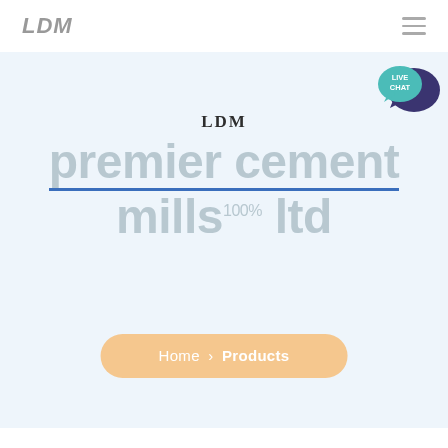LDM
[Figure (illustration): Live chat bubble icon — teal speech bubble with 'LIVE CHAT' text and a dark purple speech bubble behind it]
LDM
premier cement
mills ltd
Home > Products